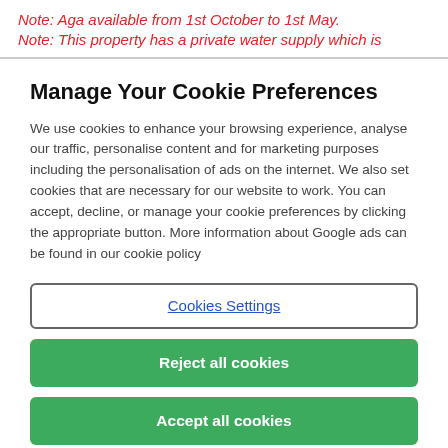Note: Aga available from 1st October to 1st May.
Note: This property has a private water supply which is
Manage Your Cookie Preferences
We use cookies to enhance your browsing experience, analyse our traffic, personalise content and for marketing purposes including the personalisation of ads on the internet. We also set cookies that are necessary for our website to work. You can accept, decline, or manage your cookie preferences by clicking the appropriate button. More information about Google ads can be found in our cookie policy
Cookies Settings
Reject all cookies
Accept all cookies